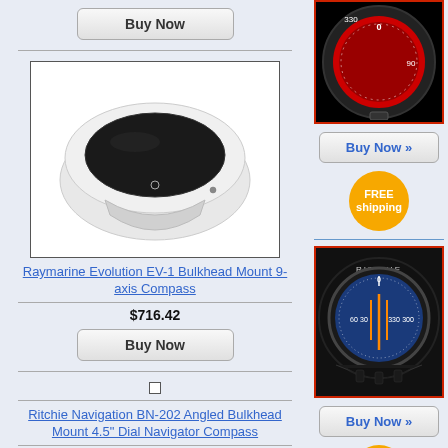[Figure (photo): Buy Now button (top of left column)]
[Figure (photo): Raymarine Evolution EV-1 Bulkhead Mount 9-axis Compass product image - white oval/puck shaped compass]
Raymarine Evolution EV-1 Bulkhead Mount 9-axis Compass
$716.42
[Figure (photo): Buy Now button]
Ritchie Navigation BN-202 Angled Bulkhead Mount 4.5" Dial Navigator Compass
$499.95
[Figure (photo): Buy Now button]
[Figure (photo): Bottom product image - partial compass view]
[Figure (photo): Right column top - compass product image (red/black compass face)]
[Figure (photo): Buy Now >> button]
[Figure (photo): FREE shipping orange badge]
[Figure (photo): Ritchie compass - black compass with blue face showing degree markings]
[Figure (photo): Buy Now >> button]
[Figure (photo): FREE shipping orange badge (partial)]